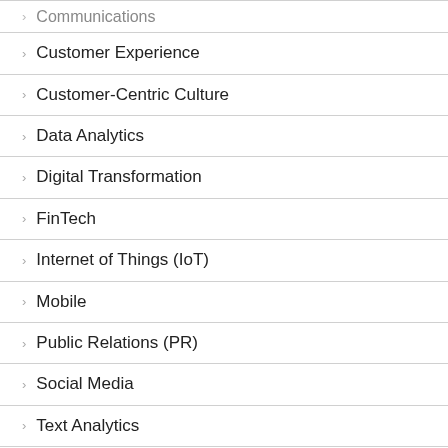Communications
Customer Experience
Customer-Centric Culture
Data Analytics
Digital Transformation
FinTech
Internet of Things (IoT)
Mobile
Public Relations (PR)
Social Media
Text Analytics